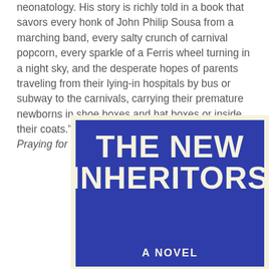neonatology. His story is richly told in a book that savors every honk of John Philip Sousa from a marching band, every salty crunch of carnival popcorn, every sparkle of a Ferris wheel turning in a night sky, and the desperate hopes of parents traveling from their lying-in hospitals by bus or subway to the carnivals, carrying their premature newborns in shoe boxes and hat boxes or inside their coats." (Melissa Fay Greene, author of Praying for Sheetrock)
[Figure (illustration): Book cover for 'The New Inheritors: A Novel' — dark blue background with large cream/off-white serif-style bold text reading 'THE NEW INHERITORS' and subtitle 'A NOVEL' at the bottom, set inside a cream-bordered frame.]